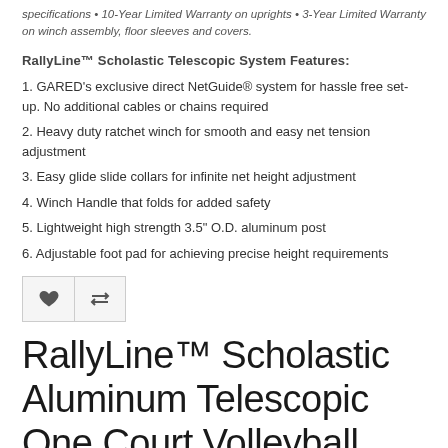specifications • 10-Year Limited Warranty on uprights • 3-Year Limited Warranty on winch assembly, floor sleeves and covers.
RallyLine™ Scholastic Telescopic System Features:
1. GARED's exclusive direct NetGuide® system for hassle free set-up. No additional cables or chains required
2. Heavy duty ratchet winch for smooth and easy net tension adjustment
3. Easy glide slide collars for infinite net height adjustment
4. Winch Handle that folds for added safety
5. Lightweight high strength 3.5" O.D. aluminum post
6. Adjustable foot pad for achieving precise height requirements
RallyLine™ Scholastic Aluminum Telescopic One Court Volleyball